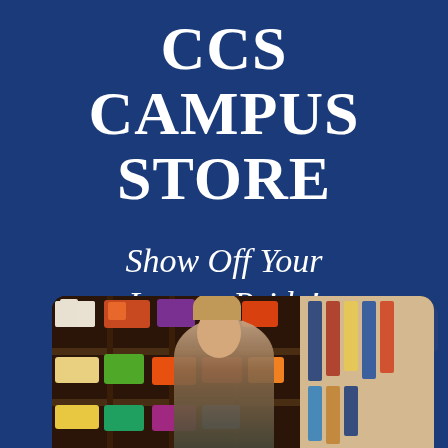CCS CAMPUS STORE
Show Off Your Lancer Pride!
[Figure (photo): A woman smiling in a campus store with shelves stocked with snacks, merchandise and products behind her. To the right are hanging merchandise items.]